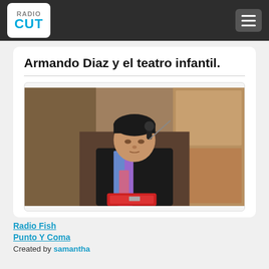RadioCUT
Armando Diaz y el teatro infantil.
[Figure (photo): Man in black jacket and colorful scarf sitting in front of a microphone in a radio studio, with a red bag on his lap.]
Radio Fish
Punto Y Coma
Created by samantha